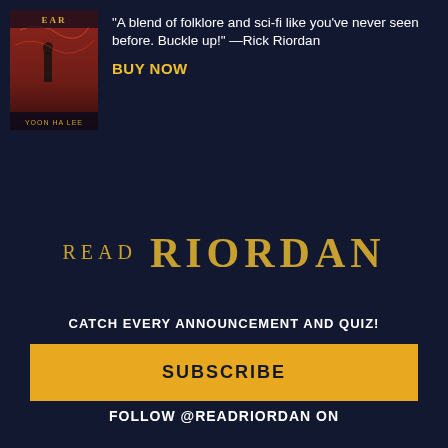[Figure (illustration): Book cover partially visible, showing a figure on a dark red/dramatic background with text 'YOON HA LEE' at bottom]
"A blend of folklore and sci-fi like you've never seen before. Buckle up!" —Rick Riordan
BUY NOW
[Figure (other): Golden horizontal divider line]
READ RIORDAN
CATCH EVERY ANNOUNCEMENT AND QUIZ!
SUBSCRIBE
FOLLOW @READRIORDAN ON